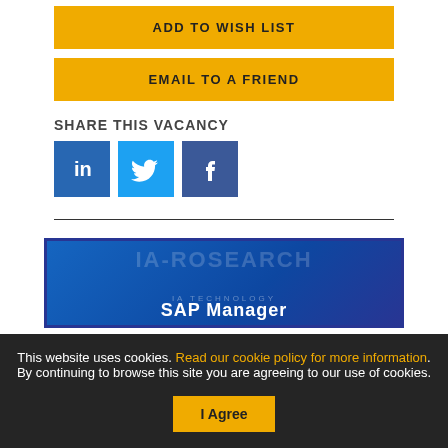ADD TO WISH LIST
EMAIL TO A FRIEND
SHARE THIS VACANCY
[Figure (other): Social sharing icons for LinkedIn, Twitter, and Facebook]
This website uses cookies. Read our cookie policy for more information. By continuing to browse this site you are agreeing to our use of cookies.
[Figure (screenshot): Preview of a job listing page showing SAP Manager position with IA-RO website branding]
I Agree